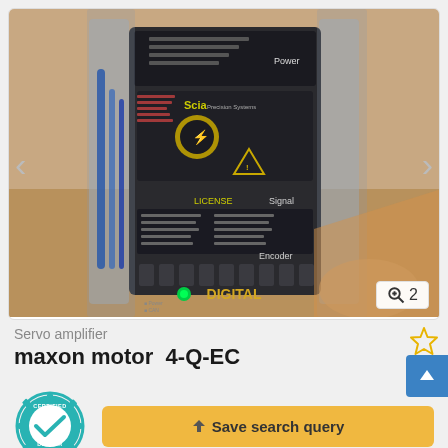[Figure (photo): Photo of a maxon motor 4-Q-EC servo amplifier device in anti-static plastic wrap packaging, showing the device face with connector ports labeled Power, Signal, Encoder, and DIGITAL, along with a green LED indicator. The device is dark colored with yellow text and ESD warning labels.]
Servo amplifier
maxon motor  4-Q-EC
[Figure (logo): Certified Dealer circular badge in teal/turquoise color with a checkmark in the center and text 'CERTIFIED DEALER' around the border in a gear-like shape.]
Save search query